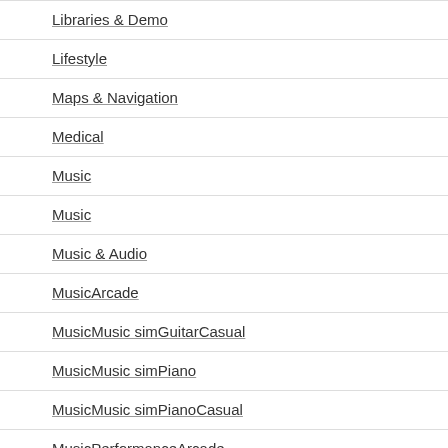Libraries & Demo
Lifestyle
Maps & Navigation
Medical
Music
Music
Music & Audio
MusicArcade
MusicMusic simGuitarCasual
MusicMusic simPiano
MusicMusic simPianoCasual
MusicPerformanceArcade
MusicPerformanceArcade